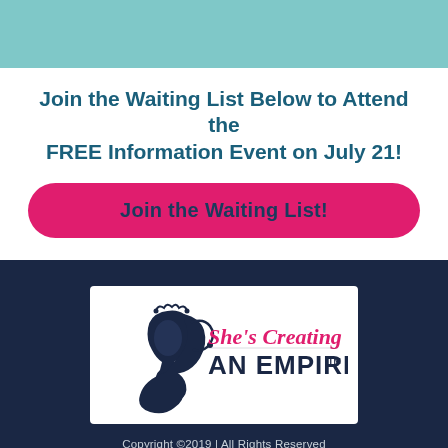[Figure (illustration): Teal/mint colored decorative header bar]
Join the Waiting List Below to Attend the FREE Information Event on July 21!
[Figure (other): Pink rounded rectangle button with text 'Join the Waiting List!']
[Figure (logo): She's Creating An Empire logo - silhouette of woman with crown in navy blue with pink script text]
Copyright ©2019 | All Rights Reserved